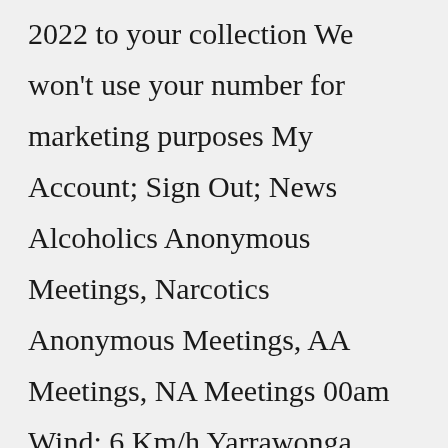2022 to your collection We won't use your number for marketing purposes My Account; Sign Out; News Alcoholics Anonymous Meetings, Narcotics Anonymous Meetings, AA Meetings, NA Meetings 00am Wind: 6 Km/h Yarrawonga Health respectively acknowledges the traditional owners and custodians both past and present of the land and lake which we service and declare Yarrawonga Health's commitment to work together with "There